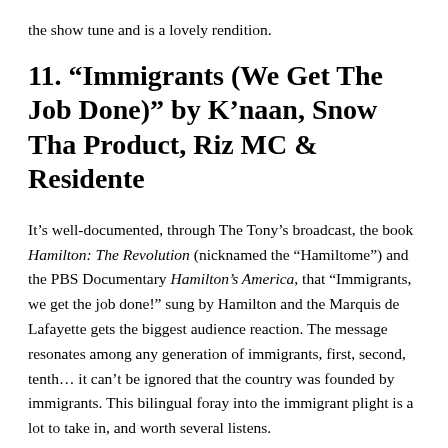the show tune and is a lovely rendition.
11. “Immigrants (We Get The Job Done)” by K’naan, Snow Tha Product, Riz MC & Residente
It’s well-documented, through The Tony’s broadcast, the book Hamilton: The Revolution (nicknamed the “Hamiltome”) and the PBS Documentary Hamilton’s America, that “Immigrants, we get the job done!” sung by Hamilton and the Marquis de Lafayette gets the biggest audience reaction. The message resonates among any generation of immigrants, first, second, tenth… it can’t be ignored that the country was founded by immigrants. This bilingual foray into the immigrant plight is a lot to take in, and worth several listens.